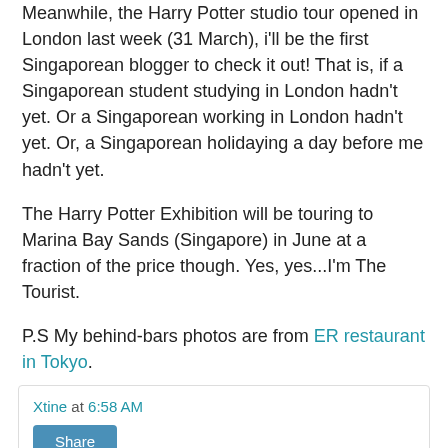Meanwhile, the Harry Potter studio tour opened in London last week (31 March), i'll be the first Singaporean blogger to check it out! That is, if a Singaporean student studying in London hadn't yet. Or a Singaporean working in London hadn't yet. Or, a Singaporean holidaying a day before me hadn't yet.
The Harry Potter Exhibition will be touring to Marina Bay Sands (Singapore) in June at a fraction of the price though. Yes, yes...I'm The Tourist.
P.S My behind-bars photos are from ER restaurant in Tokyo.
Xtine at 6:58 AM
Share
1 comment:
devidmark October 19, 2015 at 5:06 PM